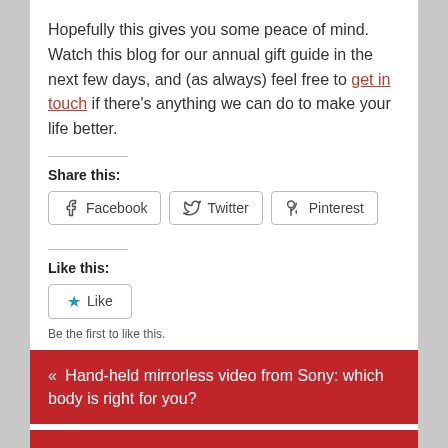Hopefully this gives you some peace of mind. Watch this blog for our annual gift guide in the next few days, and (as always) feel free to get in touch if there's anything we can do to make your life better.
Share this:
[Figure (other): Social share buttons: Facebook, Twitter, Pinterest]
Like this:
[Figure (other): Like button with star icon]
Be the first to like this.
« Hand-held mirrorless video from Sony: which body is right for you?